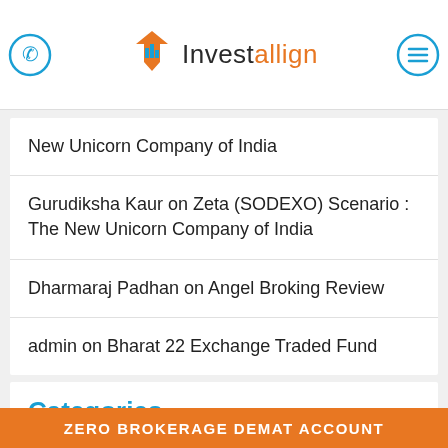Investallign
New Unicorn Company of India
Gurudiksha Kaur on Zeta (SODEXO) Scenario : The New Unicorn Company of India
Dharmaraj Padhan on Angel Broking Review
admin on Bharat 22 Exchange Traded Fund
Categories
Accounting
ZERO BROKERAGE DEMAT ACCOUNT